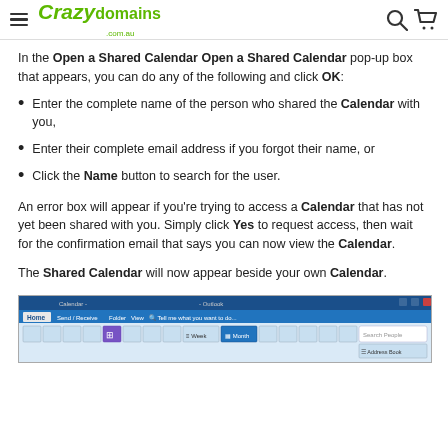Crazy domains .com.au
In the Open a Shared Calendar pop-up box that appears, you can do any of the following and click OK:
Enter the complete name of the person who shared the Calendar with you,
Enter their complete email address if you forgot their name, or
Click the Name button to search for the user.
An error box will appear if you’re trying to access a Calendar that has not yet been shared with you. Simply click Yes to request access, then wait for the confirmation email that says you can now view the Calendar.
The Shared Calendar will now appear beside your own Calendar.
[Figure (screenshot): Screenshot of Microsoft Outlook Calendar ribbon interface showing the Home tab with various calendar navigation and view buttons.]